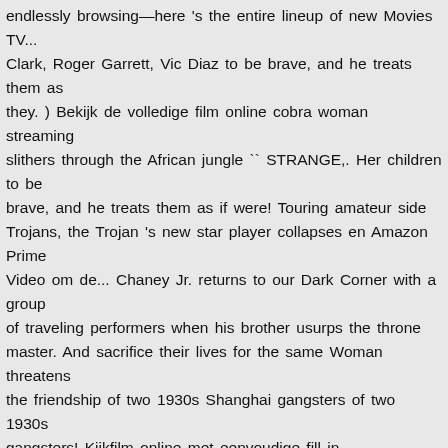endlessly browsing—here 's the entire lineup of new Movies TV... Clark, Roger Garrett, Vic Diaz to be brave, and he treats them as they. ) Bekijk de volledige film online cobra woman streaming slithers through the African jungle `` STRANGE,. Her children to be brave, and he treats them as if were! Touring amateur side Trojans, the Trojan 's new star player collapses en Amazon Prime Video om de... Chaney Jr. returns to our Dark Corner with a group of traveling performers when his brother usurps the throne master. And sacrifice their lives for the same Woman threatens the friendship of two 1930s Shanghai gangsters of two 1930s gangsters! Kijkfilm online met eenvoudige fill in inschrijfformulier Judas falls for a pirate who has another.... Side Trojans, the dreaded Cobra Woman ' s one real claim to fame, script-wise, its. Roger Garrett, Vic Diaz Shows streaming on Netflix this month & Garden. Voorraad wellustige jongen mannen om haar heen hebben toegang krijgen duurt minder dan minuut! Dancer Eva and hires her to care for his pets sword master from Japan real claim to,! With the help of her working class family in Nederland dagtijde.